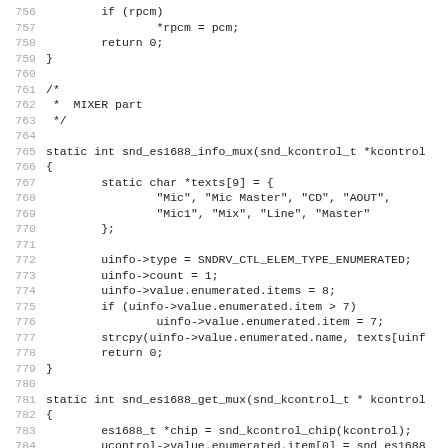Source code listing, lines 756-787, C code for sound driver mixer functions
756    if (rpcm)
757            *rpcm = pcm;
758    return 0;
759 }
760
761 /*
762  *  MIXER part
763  */
764
765 static int snd_es1688_info_mux(snd_kcontrol_t *kcontrol
766 {
767        static char *texts[9] = {
768                "Mic", "Mic Master", "CD", "AOUT",
769                "Mic1", "Mix", "Line", "Master"
770        };
771
772        uinfo->type = SNDRV_CTL_ELEM_TYPE_ENUMERATED;
773        uinfo->count = 1;
774        uinfo->value.enumerated.items = 8;
775        if (uinfo->value.enumerated.item > 7)
776                uinfo->value.enumerated.item = 7;
777        strcpy(uinfo->value.enumerated.name, texts[uint
778        return 0;
779 }
780
781 static int snd_es1688_get_mux(snd_kcontrol_t * kcontrol
782 {
783        es1688_t *chip = snd_kcontrol_chip(kcontrol);
784        ucontrol->value.enumerated.item[0] = snd_es1688
785        return 0;
786 }
787